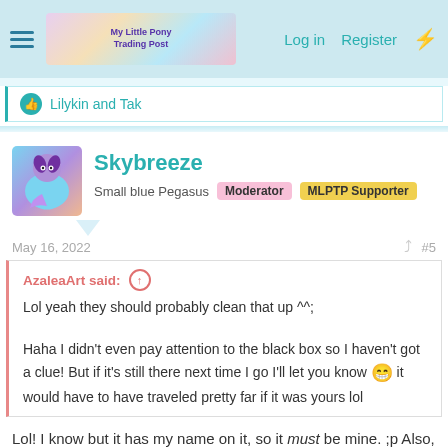Log in  Register
Lilykin and Tak
Skybreeze
Small blue Pegasus  Moderator  MLPTP Supporter
May 16, 2022  #5
AzaleaArt said:
Lol yeah they should probably clean that up ^^;
Haha I didn't even pay attention to the black box so I haven't got a clue! But if it's still there next time I go I'll let you know 😁 it would have to have traveled pretty far if it was yours lol
Lol! I know but it has my name on it, so it must be mine. ;p Also, extra funny because the organizer freak in my soul labels everything and my friends always make fun of me for it. Lol